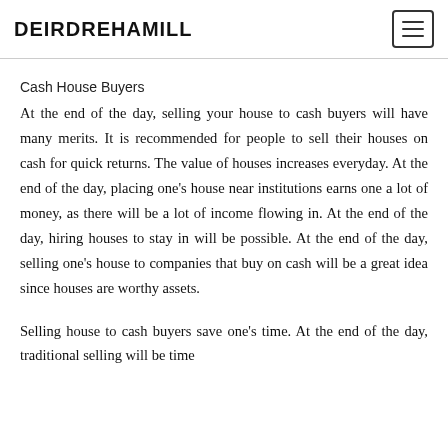DEIRDREHAMILL
Cash House Buyers
At the end of the day, selling your house to cash buyers will have many merits. It is recommended for people to sell their houses on cash for quick returns. The value of houses increases everyday. At the end of the day, placing one’s house near institutions earns one a lot of money, as there will be a lot of income flowing in. At the end of the day, hiring houses to stay in will be possible. At the end of the day, selling one’s house to companies that buy on cash will be a great idea since houses are worthy assets.
Selling house to cash buyers save one’s time. At the end of the day, traditional selling will be time